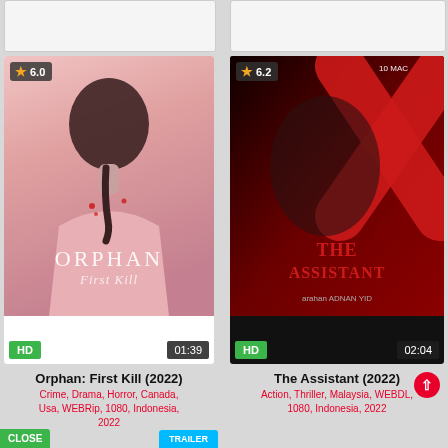[Figure (screenshot): Top stub area, two partial card tops visible from previous scroll position]
[Figure (photo): Movie poster for Orphan: First Kill (2022) — pink background, girl with braided hair seen from behind, text ORPHAN First Kill, HD badge, duration 01:39, rating 6.0]
Orphan: First Kill (2022)
Crime, Drama, Horror, Canada, Usa, WEBRip, 1080, Indonesia, 2022
[Figure (photo): Movie poster for The Assistant (2022) — dark red background with large X, man's face, text THE ASSISTANT, 10 MAC, HD badge, duration 02:04, rating 6.2]
The Assistant (2022)
Action, Thriller, Malaysia, WEBDL, 1080, Indonesia, 2022